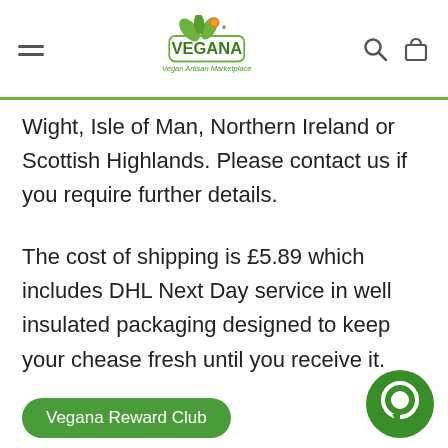Vegana — Vegan Artisan Marketplace
Wight, Isle of Man, Northern Ireland or Scottish Highlands. Please contact us if you require further details.
The cost of shipping is £5.89 which includes DHL Next Day service in well insulated packaging designed to keep your chease fresh until you receive it.
Vegana Reward Club